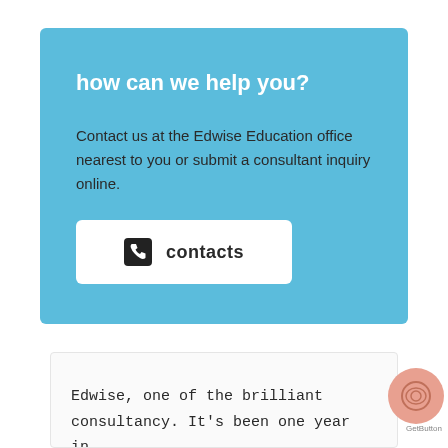how can we help you?
Contact us at the Edwise Education office nearest to you or submit a consultant inquiry online.
[Figure (other): White button with phone icon and bold text 'contacts']
Edwise, one of the brilliant consultancy. It’s been one year in Canada at Simon Fraser University and